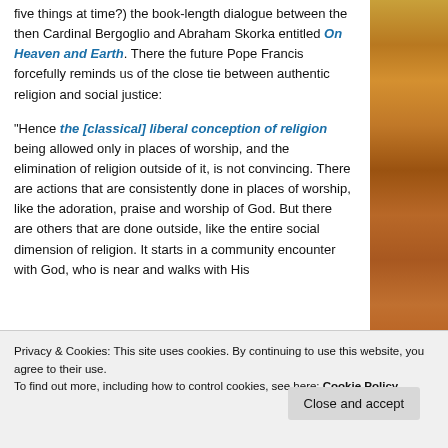five things at time?) the book-length dialogue between the then Cardinal Bergoglio and Abraham Skorka entitled On Heaven and Earth. There the future Pope Francis forcefully reminds us of the close tie between authentic religion and social justice:
“Hence the [classical] liberal conception of religion being allowed only in places of worship, and the elimination of religion outside of it, is not convincing. There are actions that are consistently done in places of worship, like the adoration, praise and worship of God. But there are others that are done outside, like the entire social dimension of religion. It starts in a community encounter with God, who is near and walks with His
One should not forget that the attitude toward social...
Privacy & Cookies: This site uses cookies. By continuing to use this website, you agree to their use.
To find out more, including how to control cookies, see here: Cookie Policy
Close and accept